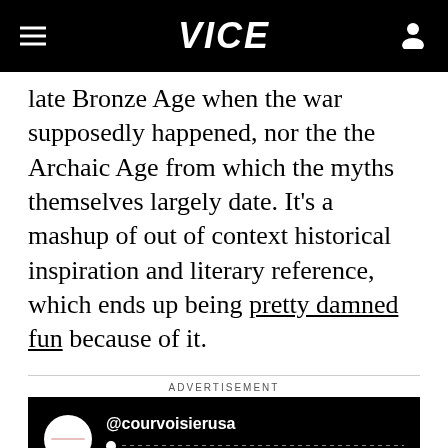VICE
late Bronze Age when the war supposedly happened, nor the the Archaic Age from which the myths themselves largely date. It's a mashup of out of context historical inspiration and literary reference, which ends up being pretty damned fun because of it.
ADVERTISEMENT
[Figure (screenshot): Advertisement block with dark background showing @courvoisierusa Instagram handle with avatar and progress bar]